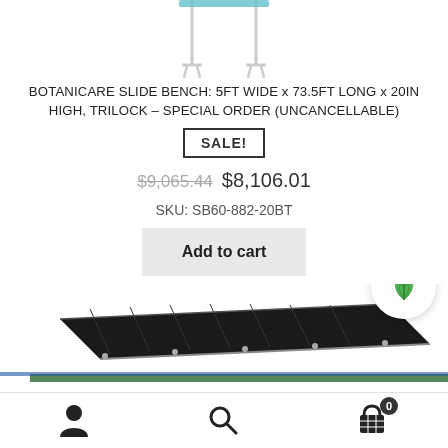[Figure (photo): Top portion of a Botanicare slide bench product photo, showing metal frame legs against white background]
BOTANICARE SLIDE BENCH: 5FT WIDE x 73.5FT LONG x 20IN HIGH, TRILOCK – SPECIAL ORDER (UNCANCELLABLE)
SALE!
$9,065.44 $8,106.01
SKU: SB60-882-20BT
Add to cart
[Figure (photo): Bottom portion of product showing dark Botanicare slide bench at an angle with green and blue frame elements, and a circular green leaf logo badge in the top right corner]
User icon | Search icon | Cart icon (0)